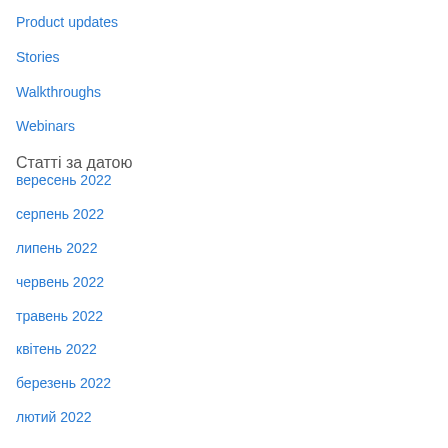Product updates
Stories
Walkthroughs
Webinars
Статті за датою
вересень 2022
серпень 2022
липень 2022
червень 2022
травень 2022
квітень 2022
березень 2022
лютий 2022